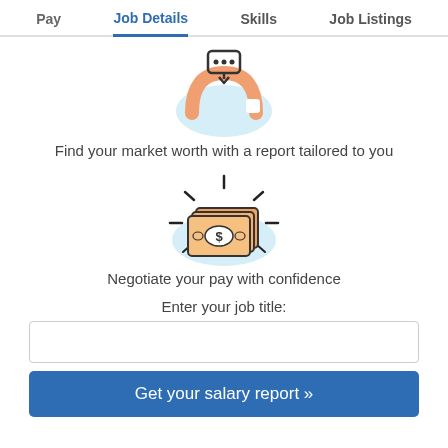Pay  Job Details  Skills  Job Listings
[Figure (illustration): Phone/signal arc icon with orange rainbow arc shape on light blue background cloud shape]
Find your market worth with a report tailored to you
[Figure (illustration): Stack of money bills with dollar sign, orange/peach color, with radiating lines, on light blue background cloud shape]
Negotiate your pay with confidence
Enter your job title:
Get your salary report »